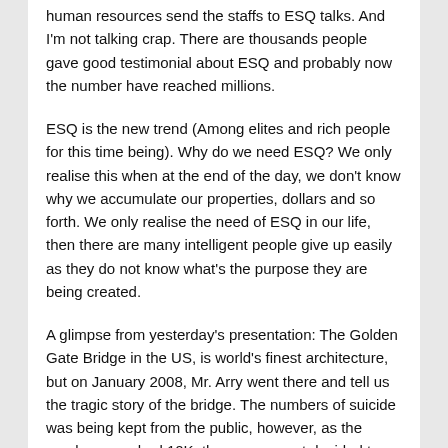human resources send the staffs to ESQ talks. And I'm not talking crap. There are thousands people gave good testimonial about ESQ and probably now the number have reached millions.
ESQ is the new trend (Among elites and rich people for this time being). Why do we need ESQ? We only realise this when at the end of the day, we don't know why we accumulate our properties, dollars and so forth. We only realise the need of ESQ in our life, then there are many intelligent people give up easily as they do not know what's the purpose they are being created.
A glimpse from yesterday's presentation: The Golden Gate Bridge in the US, is world's finest architecture, but on January 2008, Mr. Arry went there and tell us the tragic story of the bridge. The numbers of suicide was being kept from the public, however, as the numbers reached 10K, the government decided to put high fence, to prevent people from jumping from the Golden Gate. Counselling line was also being placed on the bridge, hoping to give